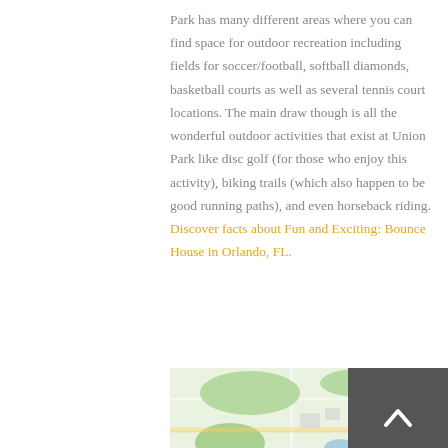Park has many different areas where you can find space for outdoor recreation including fields for soccer/football, softball diamonds, basketball courts as well as several tennis court locations. The main draw though is all the wonderful outdoor activities that exist at Union Park like disc golf (for those who enjoy this activity), biking trails (which also happen to be good running paths), and even horseback riding. Discover facts about Fun and Exciting: Bounce House in Orlando, FL.
[Figure (map): Google Maps view showing the Union Park area in Orlando, FL with streets, green spaces, and water bodies. The label 'Bertha' is visible on the right side of the map.]